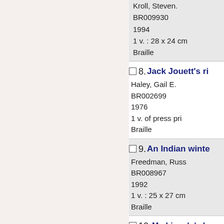Kroll, Steven.
BR009930
1994
1 v. : 28 x 24 cm
Braille
8. Jack Jouett's ri...
Haley, Gail E.
BR002699
1976
1 v. of press pri...
Braille
9. An Indian winte...
Freedman, Russ...
BR008967
1992
1 v. : 25 x 27 cm
Braille
10. Mr. Lincoln's b...
Abraham Linco...